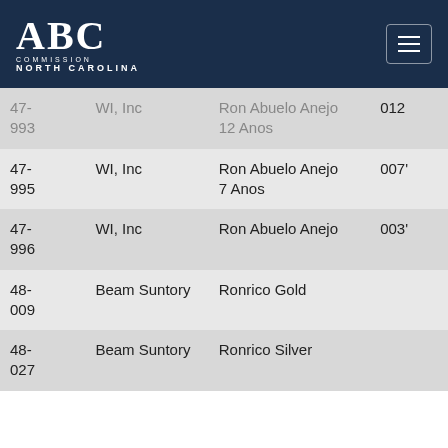ABC Commission North Carolina
| Code | Supplier | Product | Price |
| --- | --- | --- | --- |
| 47-993 | WI, Inc | Ron Abuelo Anejo 12 Anos | 012 |
| 47-995 | WI, Inc | Ron Abuelo Anejo 7 Anos | 007 |
| 47-996 | WI, Inc | Ron Abuelo Anejo | 003 |
| 48-009 | Beam Suntory | Ronrico Gold |  |
| 48-027 | Beam Suntory | Ronrico Silver |  |